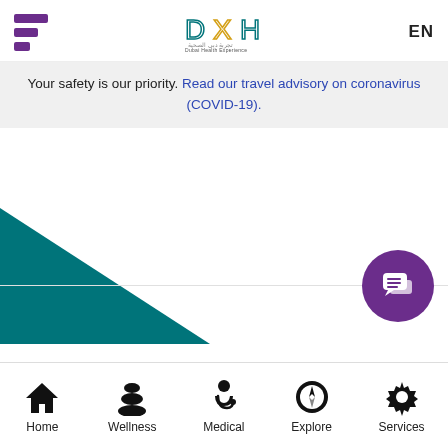[Figure (logo): DXH Dubai Health Experience logo with hamburger menu and EN language toggle]
Your safety is our priority. Read our travel advisory on coronavirus (COVID-19).
[Figure (illustration): Teal triangle shape on left side and purple chat button on bottom right]
[Figure (infographic): Bottom navigation bar with Home, Wellness, Medical, Explore, Services icons]